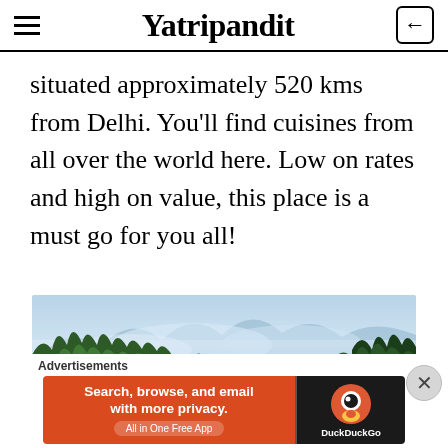Yatripandit
situated approximately 520 kms from Delhi. You'll find cuisines from all over the world here. Low on rates and high on value, this place is a must go for you all!
[Figure (photo): Mountain landscape with dense green conifer forest in foreground and misty blue mountains with clouds in background]
Advertisements
[Figure (screenshot): DuckDuckGo advertisement banner: 'Search, browse, and email with more privacy. All in One Free App' on orange background with DuckDuckGo logo on dark right panel]